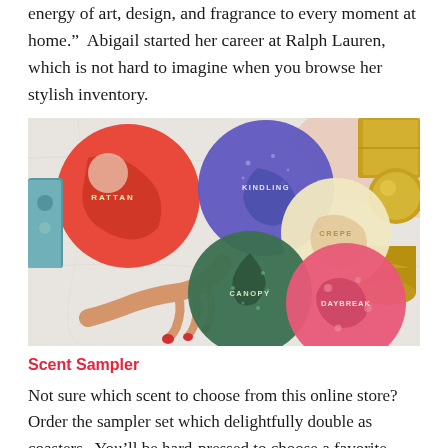energy of art, design, and fragrance to every moment at home.”  Abigail started her career at Ralph Lauren, which is not hard to imagine when you browse her stylish inventory.
[Figure (photo): Overhead photo of five colorful round scented candle tins labeled RATTAN, KINDLING, CREPE, CANOPY, and DAYBREAK arranged on a marble surface, with a hand holding one tin and gold accessories visible at top right.]
Scent Sampler
Not sure which scent to choose from this online store? Order the sampler set which delightfully double as coasters.  You’ll be hard-pressed to choose a favorite. And